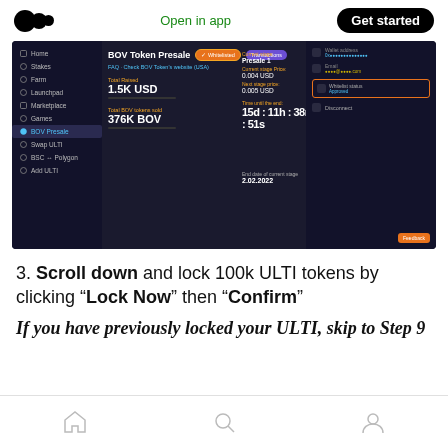Open in app | Get started
[Figure (screenshot): Screenshot of BOV Token Presale interface showing a dark-themed DeFi dashboard with sidebar navigation (Home, Stakes, Farm, Launchpad, Marketplace, Games, BOV Presale, Swap ULTI, BSC↔Polygon, Add ULTI), main content showing BOV Token Presale with Whitelisted and Transactions buttons, stats showing Total Raised: 1.5K USD, Total BOV tokens sold: 376K BOV, Current stage: Presale 1, Current stage Price: 0.004 USD, Next stage price: 0.005 USD, Time until the end: 15d : 11h : 38m : 51s, End date of current stage: 2.02.2022, and a right panel showing wallet address, Email, Whitelist status: Approved, and Disconnect option.]
3. Scroll down and lock 100k ULTI tokens by clicking “Lock Now” then “Confirm”
If you have previously locked your ULTI, skip to Step 9
Navigation icons: home, search, profile